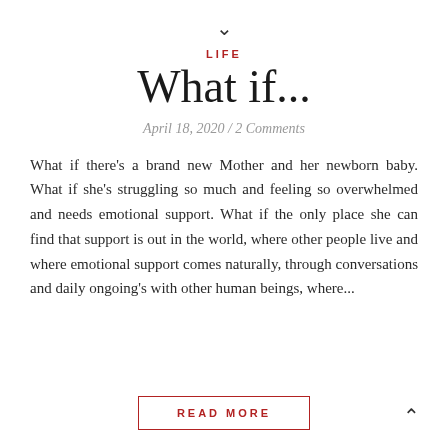▼
LIFE
What if...
April 18, 2020 / 2 Comments
What if there's a brand new Mother and her newborn baby. What if she's struggling so much and feeling so overwhelmed and needs emotional support. What if the only place she can find that support is out in the world, where other people live and where emotional support comes naturally, through conversations and daily ongoing's with other human beings, where...
READ MORE